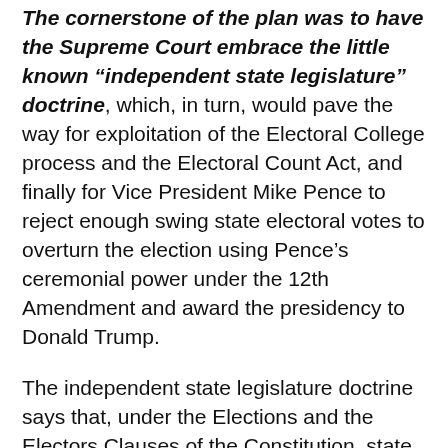The cornerstone of the plan was to have the Supreme Court embrace the little known “independent state legislature” doctrine, which, in turn, would pave the way for exploitation of the Electoral College process and the Electoral Count Act, and finally for Vice President Mike Pence to reject enough swing state electoral votes to overturn the election using Pence’s ceremonial power under the 12th Amendment and award the presidency to Donald Trump.
The independent state legislature doctrine says that, under the Elections and the Electors Clauses of the Constitution, state legislatures possess plenary and exclusive power over the conduct of federal presidential elections and the selection of state presidential electors. Not even a state supreme court, let alone other state elections officials, can alter the legislatively written election rules or interfere with the